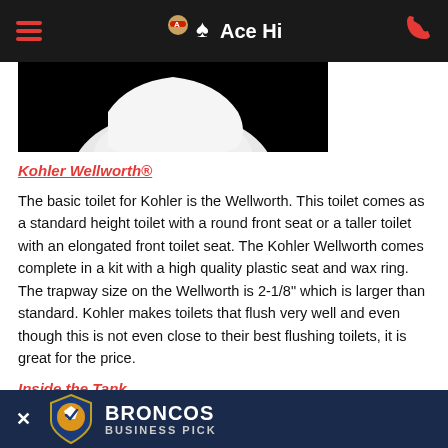Ace Hi
[Figure (photo): Partial image of a white toilet bowl/tank against a black background]
Kohler Wellworth®
The basic toilet for Kohler is the Wellworth. This toilet comes as a standard height toilet with a round front seat or a taller toilet with an elongated front toilet seat. The Kohler Wellworth comes complete in a kit with a high quality plastic seat and wax ring. The trapway size on the Wellworth is 2-1/8" which is larger than standard. Kohler makes toilets that flush very well and even though this is not even close to their best flushing toilets, it is great for the price.
Inside the Tank
The fill valve is a Fluidmaster quality fill valve. The tank is bolted to the bowl with a heavy support. The Wellworth comes with a fill valve allowing for
[Figure (infographic): Broncos Business Pick advertisement overlay with shield logo, X close button, and text BRONCOS BUSINESS PICK]